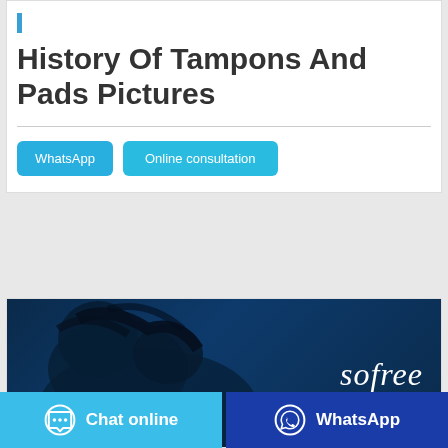History Of Tampons And Pads Pictures
WhatsApp
Online consultation
[Figure (photo): Sofree brand banner image with dark blue background showing a silhouette of a person/animal and the 'sofree' logo text in white italic font on the right side]
Chat online
WhatsApp